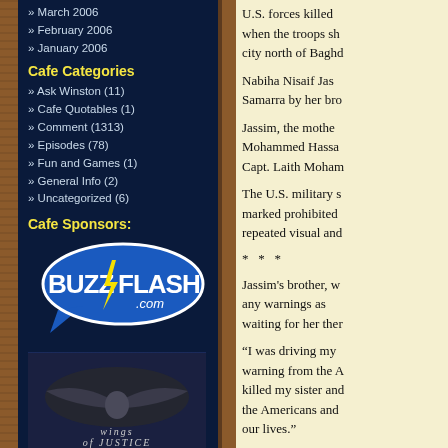» March 2006
» February 2006
» January 2006
Cafe Categories
» Ask Winston (11)
» Cafe Quotables (1)
» Comment (1313)
» Episodes (78)
» Fun and Games (1)
» General Info (2)
» Uncategorized (6)
Cafe Sponsors:
[Figure (logo): BuzzFlash.com logo - blue speech bubble with bold white text BUZZFLASH and yellow lightning bolt, .com in white italic]
[Figure (logo): Wings of Justice logo - dark background with eagle wings silhouette and text 'wings of justice' in serif italic font]
U.S. forces killed when the troops sh city north of Baghd
Nabiha Nisaif Jas Samarra by her bro
Jassim, the mothe Mohammed Hassa Capt. Laith Moham
The U.S. military s marked prohibited repeated visual and
* * *
Jassim's brother, w any warnings as waiting for her ther
“I was driving my warning from the A killed my sister and the Americans and our lives.”